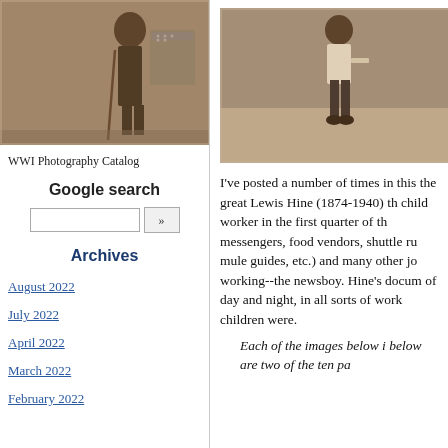[Figure (photo): Sepia-toned historical photograph of a person standing with a cane, with an American flag in the background]
[Figure (photo): Sepia-toned historical photograph of a young child standing, wearing boots and holding something]
WWI Photography Catalog
Google search
Archives
August 2022
July 2022
April 2022
March 2022
February 2022
I've posted a number of times in this the great Lewis Hine (1874-1940) th child worker in the first quarter of th messengers, food vendors, shuttle ru mule guides, etc.) and many other jo working--the newsboy. Hine's docum of day and night, in all sorts of work children were.
Each of the images below i below are two of the ten pa